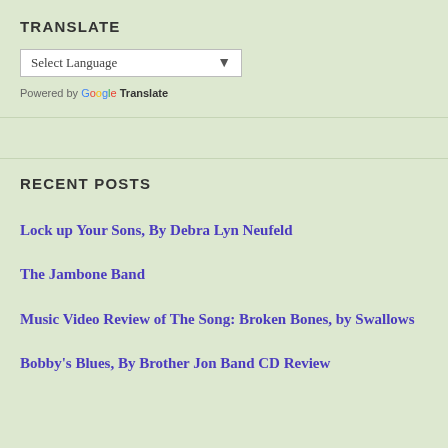TRANSLATE
[Figure (screenshot): Google Translate widget with 'Select Language' dropdown and 'Powered by Google Translate' label]
RECENT POSTS
Lock up Your Sons, By Debra Lyn Neufeld
The Jambone Band
Music Video Review of The Song: Broken Bones, by Swallows
Bobby's Blues, By Brother Jon Band CD Review